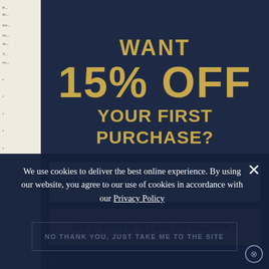[Figure (screenshot): A promotional modal popup overlay on a website page, with dark navy blue background (#1e2a45). The modal shows a discount offer: 'WANT 15% OFF YOUR FIRST PURCHASE?' in gold/tan colored bold uppercase text. Below is an email input field with placeholder 'ENTER YOUR EMAIL' and a gold 'GET YOUR STAG DISCOUNT' button. A cookie consent banner overlays the bottom of the page in dark navy, reading 'We use cookies to deliver the best online experience. By using our website, you agree to our use of cookies in accordance with our Privacy Policy' with an X close button. Below the cookie banner, a partially visible 'NO THANK YOU, JUST TAKE ME TO THE SITE' link is shown. A small circle-x close button appears bottom right.]